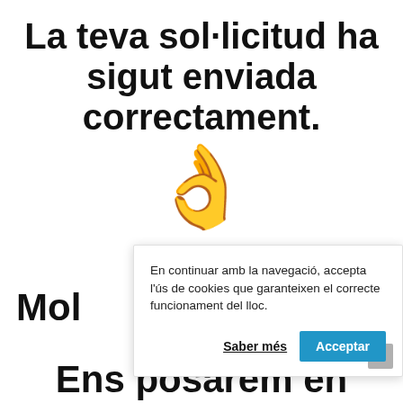La teva sol·licitud ha sigut enviada correctament.
[Figure (illustration): OK hand gesture emoji in yellow]
Mol
En continuar amb la navegació, accepta l'ús de cookies que garanteixen el correcte funcionament del lloc.
Saber més
Acceptar
Ens posarem en